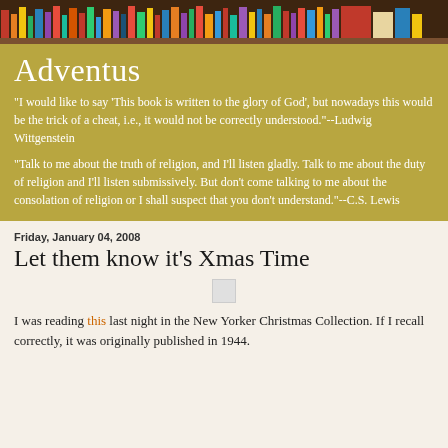[Figure (photo): Colorful bookshelf header image with books of various colors arranged on shelves]
Adventus
"I would like to say 'This book is written to the glory of God', but nowadays this would be the trick of a cheat, i.e., it would not be correctly understood."--Ludwig Wittgenstein
"Talk to me about the truth of religion, and I'll listen gladly. Talk to me about the duty of religion and I'll listen submissively. But don't come talking to me about the consolation of religion or I shall suspect that you don't understand."--C.S. Lewis
Friday, January 04, 2008
Let them know it's Xmas Time
[Figure (other): Small gray placeholder image]
I was reading this last night in the New Yorker Christmas Collection. If I recall correctly, it was originally published in 1944.